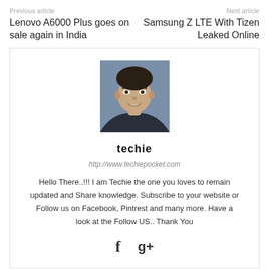Previous article
Lenovo A6000 Plus goes on sale again in India
Next article
Samsung Z LTE With Tizen Leaked Online
[Figure (photo): Profile photo of a young man smiling, dark hair, against a grey background]
techie
http://www.techiepocket.com
Hello There..!!! I am Techie the one you loves to remain updated and Share knowledge. Subscribe to your website or Follow us on Facebook, Pintrest and many more. Have a look at the Follow US.. Thank You
[Figure (other): Social media icons: Facebook (f) and Google+ (g+)]